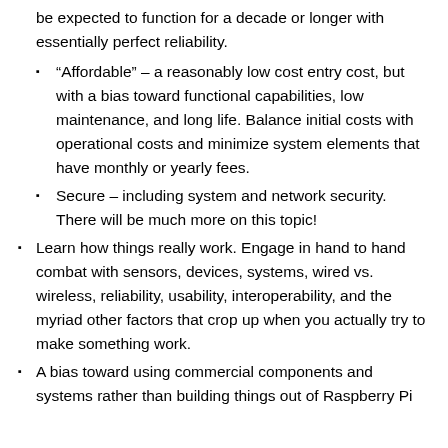be expected to function for a decade or longer with essentially perfect reliability.
“Affordable” – a reasonably low cost entry cost, but with a bias toward functional capabilities, low maintenance, and long life. Balance initial costs with operational costs and minimize system elements that have monthly or yearly fees.
Secure – including system and network security. There will be much more on this topic!
Learn how things really work. Engage in hand to hand combat with sensors, devices, systems, wired vs. wireless, reliability, usability, interoperability, and the myriad other factors that crop up when you actually try to make something work.
A bias toward using commercial components and systems rather than building things out of Raspberry Pi